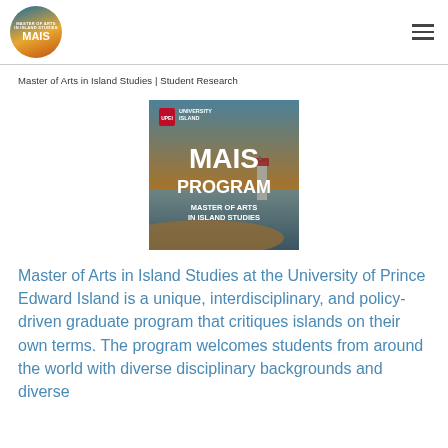[Figure (logo): MAIS Program circular logo with coastal sunset background, text reading MASTER OF ARTS IN ISLAND STUDIES MAIS]
Master of Arts in Island Studies | Student Research
[Figure (photo): MAIS Program promotional image with University of Prince Edward Island crest, text reading MAIS PROGRAM MASTER OF ARTS IN ISLAND STUDIES, beach/lighthouse background at sunset]
Master of Arts in Island Studies at the University of Prince Edward Island is a unique, interdisciplinary, and policy-driven graduate program that critiques islands on their own terms. The program welcomes students from around the world with diverse disciplinary backgrounds and diverse